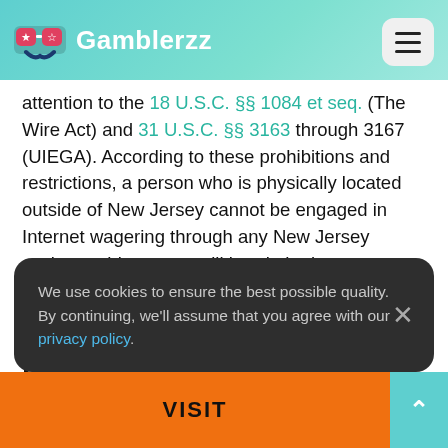Gamblerzz
attention to the 18 U.S.C. §§ 1084 et seq. (The Wire Act) and 31 U.S.C. §§ 3163 through 3167 (UIEGA). According to these prohibitions and restrictions, a person who is physically located outside of New Jersey cannot be engaged in Internet wagering through any New Jersey casino or this person will break the law.
Registering at Tropicana Online
We use cookies to ensure the best possible quality. By continuing, we'll assume that you agree with our privacy policy.
VISIT